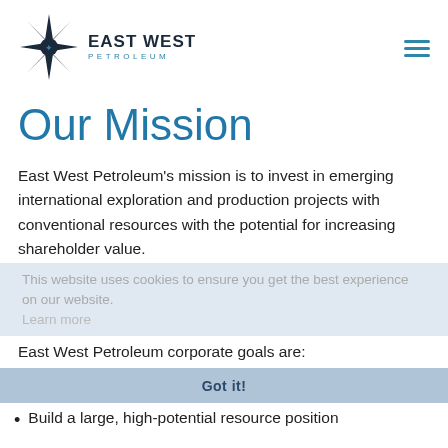[Figure (logo): East West Petroleum logo: star/compass rose with maple leaf, company name in dark and teal letters]
Our Mission
East West Petroleum's mission is to invest in emerging international exploration and production projects with conventional resources with the potential for increasing shareholder value.
This website uses cookies to ensure you get the best experience on our website. Learn more
East West Petroleum corporate goals are:
Build a large, high-potential resource position